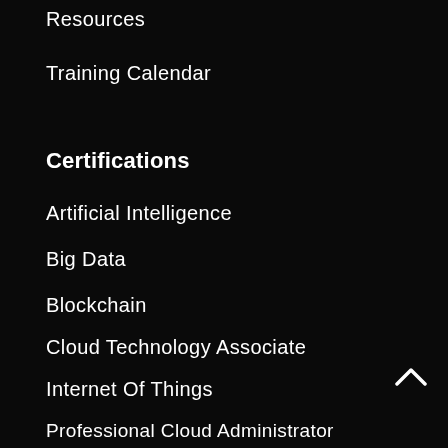Resources
Training Calendar
Certifications
Artificial Intelligence
Big Data
Blockchain
Cloud Technology Associate
Internet Of Things
Professional Cloud Administrator
Professional Cloud Developer
Professional Cloud Service Manager
Professional Cloud Solutions Architect